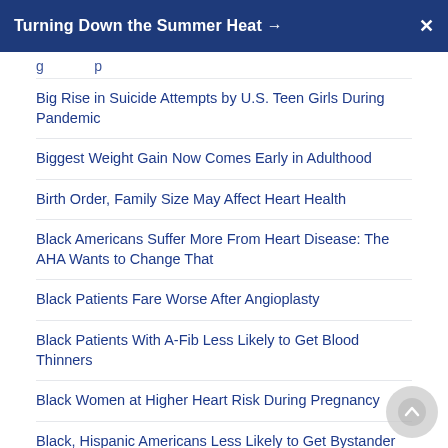Turning Down the Summer Heat →  X
[partial text visible at top]
Big Rise in Suicide Attempts by U.S. Teen Girls During Pandemic
Biggest Weight Gain Now Comes Early in Adulthood
Birth Order, Family Size May Affect Heart Health
Black Americans Suffer More From Heart Disease: The AHA Wants to Change That
Black Patients Fare Worse After Angioplasty
Black Patients With A-Fib Less Likely to Get Blood Thinners
Black Women at Higher Heart Risk During Pregnancy
Black, Hispanic Americans Less Likely to Get Bystander CPR
Black, Hispanic Patients Less Likely to Get Crucial Care After Heart Attack